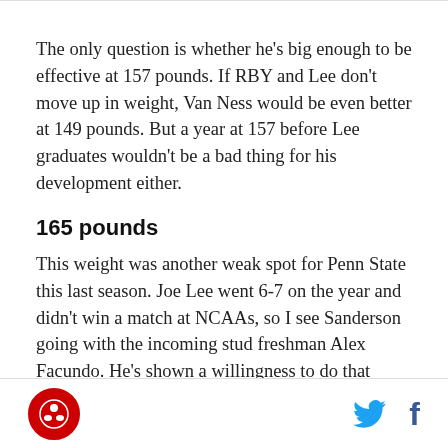The only question is whether he's big enough to be effective at 157 pounds. If RBY and Lee don't move up in weight, Van Ness would be even better at 149 pounds. But a year at 157 before Lee graduates wouldn't be a bad thing for his development either.
165 pounds
This weight was another weak spot for Penn State this last season. Joe Lee went 6-7 on the year and didn't win a match at NCAAs, so I see Sanderson going with the incoming stud freshman Alex Facundo. He's shown a willingness to do that throughout his career.
[logo] [twitter] [facebook]